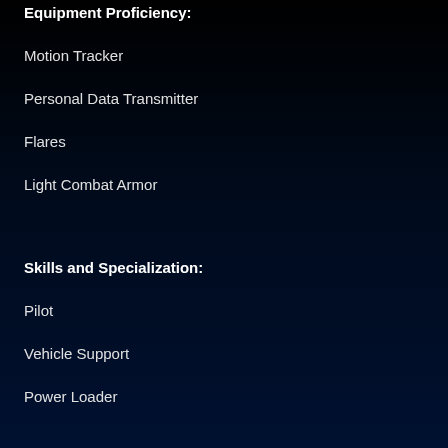Equipment Proficiency:
Motion Tracker
Personal Data Transmitter
Flares
Light Combat Armor
Skills and Specialization:
Pilot
Vehicle Support
Power Loader
Game Notes